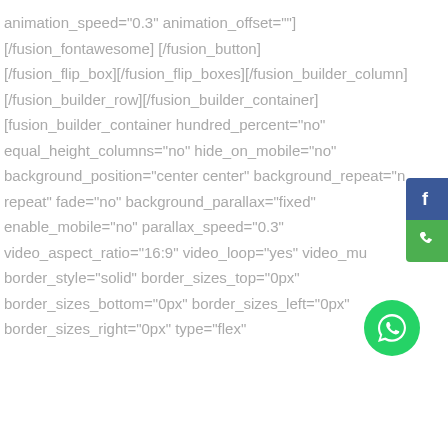animation_speed="0.3" animation_offset=""]
[/fusion_fontawesome] [/fusion_button]
[/fusion_flip_box][/fusion_flip_boxes][/fusion_builder_column]
[/fusion_builder_row][/fusion_builder_container]
[fusion_builder_container hundred_percent="no"
equal_height_columns="no" hide_on_mobile="no"
background_position="center center" background_repeat="n
repeat" fade="no" background_parallax="fixed"
enable_mobile="no" parallax_speed="0.3"
video_aspect_ratio="16:9" video_loop="yes" video_mu
border_style="solid" border_sizes_top="0px"
border_sizes_bottom="0px" border_sizes_left="0px"
border_sizes_right="0px" type="flex"